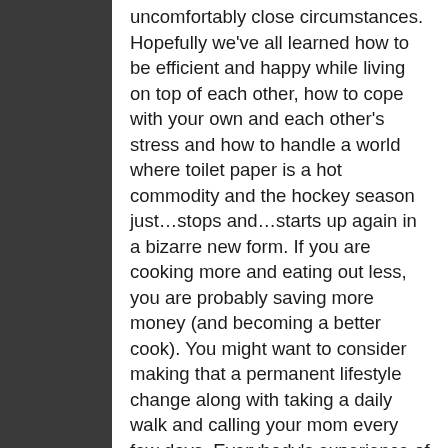uncomfortably close circumstances. Hopefully we've all learned how to be efficient and happy while living on top of each other, how to cope with your own and each other's stress and how to handle a world where toilet paper is a hot commodity and the hockey season just…stops and…starts up again in a bizarre new form. If you are cooking more and eating out less, you are probably saving more money (and becoming a better cook). You might want to consider making that a permanent lifestyle change along with taking a daily walk and calling your mom every few days. Everybody's experience of this time will be unique, and everyone will have a different story to tell.